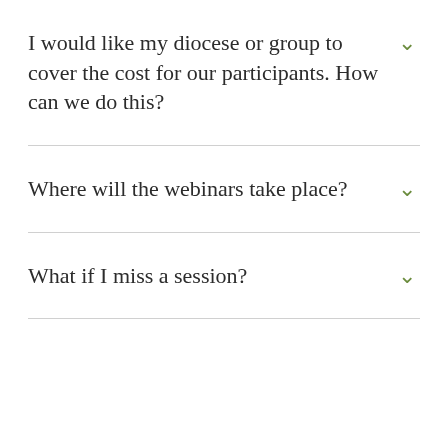I would like my diocese or group to cover the cost for our participants. How can we do this?
Where will the webinars take place?
What if I miss a session?